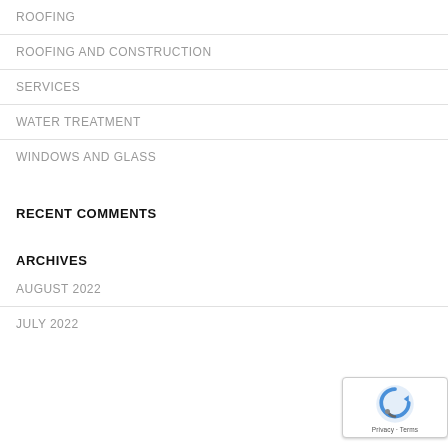ROOFING
ROOFING AND CONSTRUCTION
SERVICES
WATER TREATMENT
WINDOWS AND GLASS
RECENT COMMENTS
ARCHIVES
AUGUST 2022
JULY 2022